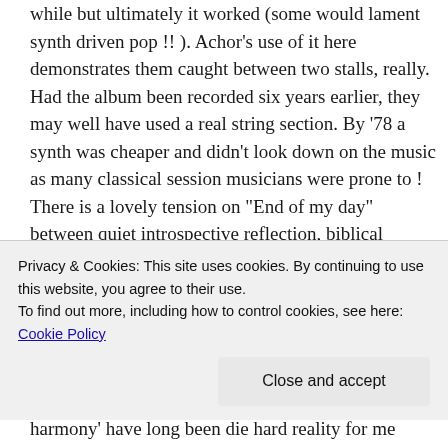while but ultimately it worked (some would lament synth driven pop !! ). Achor's use of it here demonstrates them caught between two stalls, really. Had the album been recorded six years earlier, they may well have used a real string section. By '78 a synth was cheaper and didn't look down on the music as many classical session musicians were prone to ! There is a lovely tension on "End of my day" between quiet introspective reflection, biblical storytelling, imagination and sheer exuberant joy. I even like the untitled spoken word over acoustic guitar piece. I call it "Like apples". My
Privacy & Cookies: This site uses cookies. By continuing to use this website, you agree to their use. To find out more, including how to control cookies, see here: Cookie Policy
harmony' have long been die hard reality for me